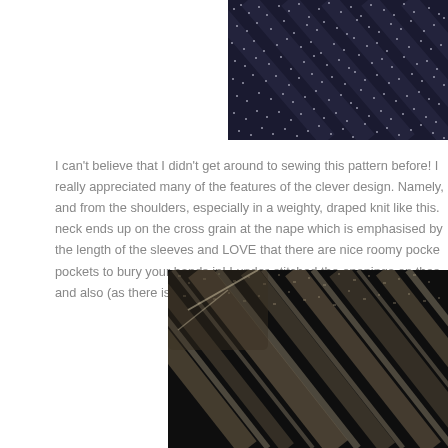[Figure (photo): Close-up of dark navy/black knit fabric texture with small white/grey dotted pattern arranged in diagonal lines]
I can't believe that I didn't get around to sewing this pattern before! I really appreciated many of the features of the clever design. Namely, and from the shoulders, especially in a weighty, draped knit like this. neck ends up on the cross grain at the nape which is emphasised by the length of the sleeves and LOVE that there are nice roomy pocke pockets to bury your hands in! I under-stitched the openings on thes and also (as there is no lining) I tacked the pocket bags to the inside
[Figure (photo): Close-up of black and cream/beige textured woven or knit fabric with irregular diagonal stripe pattern]